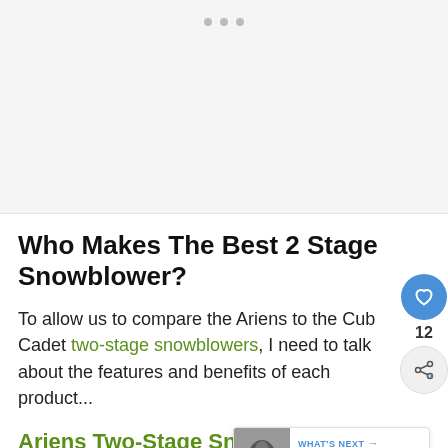[Figure (other): Light grey placeholder image area with three dots (pagination/carousel indicator) at the top center]
Who Makes The Best 2 Stage Snowblower?
To allow us to compare the Ariens to the Cub Cadet two-stage snowblowers, I need to talk about the features and benefits of each product...
Ariens Two-Stage Snow Blower